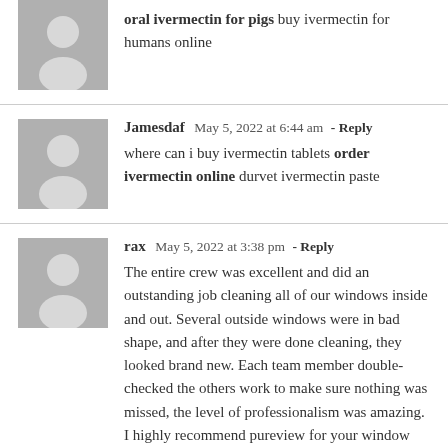oral ivermectin for pigs buy ivermectin for humans online
Jamesdaf  May 5, 2022 at 6:44 am - Reply
where can i buy ivermectin tablets order ivermectin online durvet ivermectin paste
rax  May 5, 2022 at 3:38 pm - Reply
The entire crew was excellent and did an outstanding job cleaning all of our windows inside and out. Several outside windows were in bad shape, and after they were done cleaning, they looked brand new. Each team member double-checked the others work to make sure nothing was missed, the level of professionalism was amazing. I highly recommend pureview for your window cleaning needs! The workers informed me that they were here and performed the expected services and